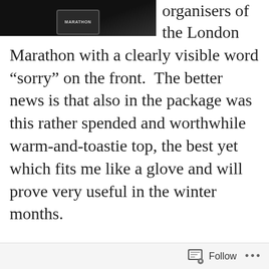[Figure (photo): Partial view of a dark/black jacket with a marathon badge or logo on the chest area]
organisers of the London Marathon with a clearly visible word “sorry” on the front.  The better news is that also in the package was this rather spended and worthwhile warm-and-toastie top, the best yet which fits me like a glove and will prove very useful in the winter months.
It is true that I am not that disappointed that I didn’t get in.  The marathon in 2016 was one of those moments in life which will forever be burned in my memory as a truly amazing experience.  I doubt it would be the same again
Follow ...